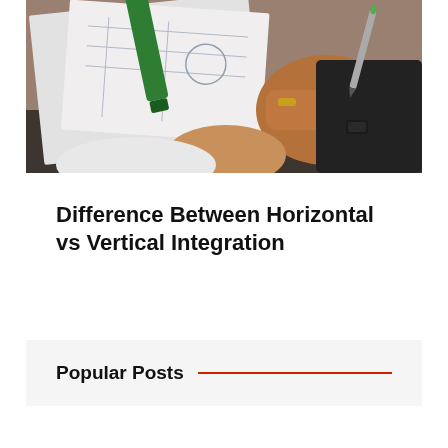[Figure (photo): Overhead photo of a person drawing or writing on engineering/architectural blueprints on a desk, with a green marker visible]
Difference Between Horizontal vs Vertical Integration
Popular Posts